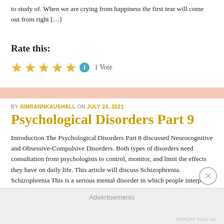to study of. When we are crying from happiness the first tear will come out from right […]
Rate this:
[Figure (other): Five gold stars rating widget with info icon and '1 Vote' label]
BY SIMRANNKAUSHALL ON JULY 24, 2021
Psychological Disorders Part 9
Introduction The Psychological Disorders Part 8 discussed Neurocognitive and Obsessive-Compulsive Disorders. Both types of disorders need consultation from psychologists to control, monitor, and limit the effects they have on daily life. This article will discuss Schizophrenia. Schizophrenia This is a serious mental disorder in which people interpret reality in an […]
Advertisements